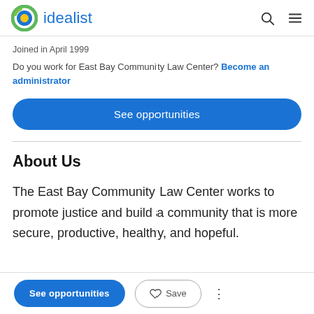idealist
Joined in April 1999
Do you work for East Bay Community Law Center? Become an administrator
See opportunities
About Us
The East Bay Community Law Center works to promote justice and build a community that is more secure, productive, healthy, and hopeful.
See opportunities  Save